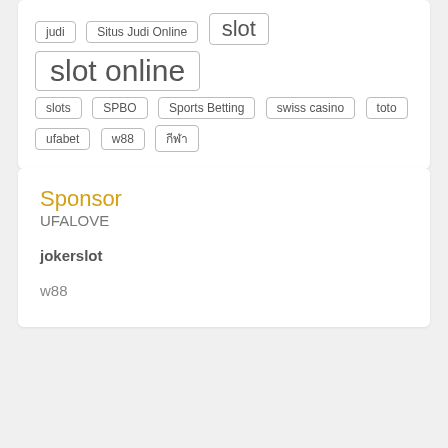judi
Situs Judi Online
slot
slot online
slots
SPBO
Sports Betting
swiss casino
toto
ufabet
w88
กีฬา
Sponsor
UFALOVE
jokerslot
w88